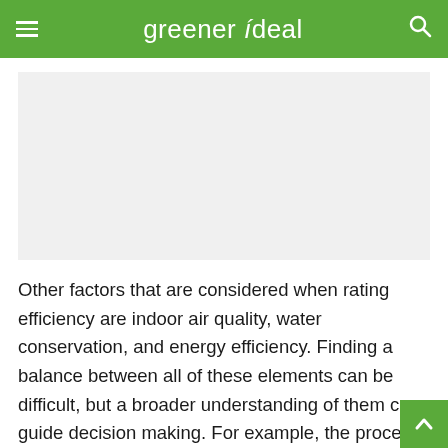greener ideal
[Figure (other): Advertisement placeholder — light grey rectangle]
Other factors that are considered when rating efficiency are indoor air quality, water conservation, and energy efficiency. Finding a balance between all of these elements can be difficult, but a broader understanding of them can guide decision making. For example, the process of making glass is not an